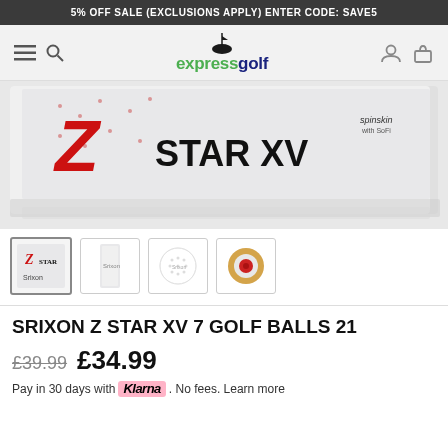5% OFF SALE (EXCLUSIONS APPLY) ENTER CODE: SAVE5
[Figure (logo): Express Golf logo with golf flag icon, green 'express' and dark blue 'golf' text]
[Figure (photo): Srixon Z Star XV golf ball box - white box with large red Z and 'STAR XV' text and SpinSkin branding]
[Figure (photo): Four product thumbnails: box, sleeve, golf ball, and cross-section of golf ball]
SRIXON Z STAR XV 7 GOLF BALLS 21
£39.99 £34.99
Pay in 30 days with Klarna. No fees. Learn more